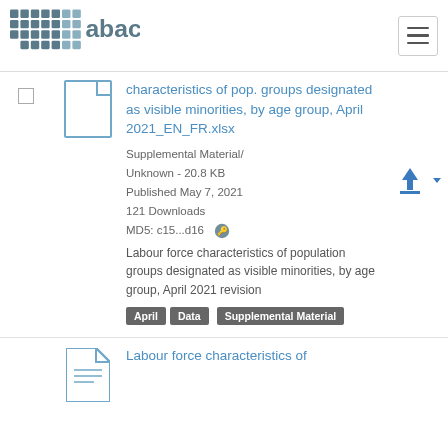abacus [logo] [hamburger menu]
characteristics of pop. groups designated as visible minorities, by age group, April 2021_EN_FR.xlsx
Supplemental Material/ Unknown - 20.8 KB
Published May 7, 2021
121 Downloads
MD5: c15...d16
Labour force characteristics of population groups designated as visible minorities, by age group, April 2021 revision
April  Data  Supplemental Material
Labour force characteristics of